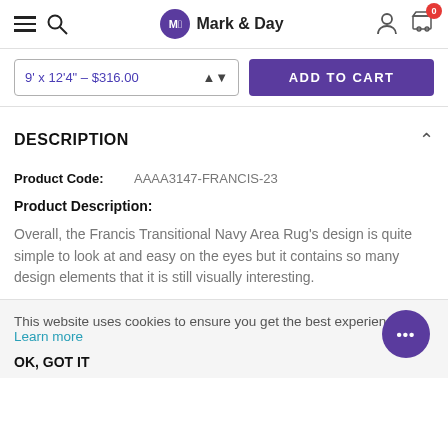Mark & Day — navigation header with hamburger menu, search, logo, user icon, cart (0)
9' x 12'4" – $316.00  ADD TO CART
DESCRIPTION
Product Code:  AAAA3147-FRANCIS-23
Product Description:
Overall, the Francis Transitional Navy Area Rug's design is quite simple to look at and easy on the eyes but it contains so many design elements that it is still visually interesting.
This website uses cookies to ensure you get the best experience. Learn more
OK, GOT IT